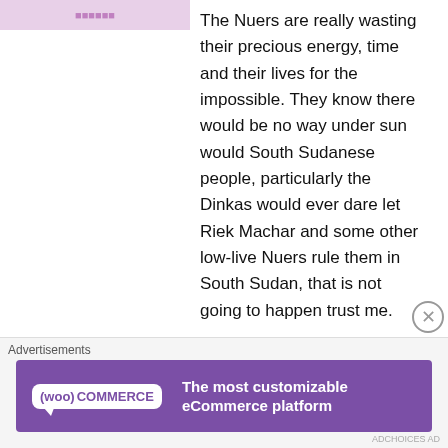The Nuers are really wasting their precious energy, time and their lives for the impossible. They know there would be no way under sun would South Sudanese people, particularly the Dinkas would ever dare let Riek Machar and some other low-live Nuers rule them in South Sudan, that is not going to happen trust me.

Even if there would be some mysterious means which may catapult Riek Machar into power in South Sudan, but I do sincerely doubt that would be feasible; then the Dinkas will just take up arms and fight the
Advertisements
[Figure (other): WooCommerce advertisement banner. Purple background with WooCommerce logo on left (white speech bubble with purple text 'WooCommerce') and tagline 'The most customizable eCommerce platform' in white text on right.]